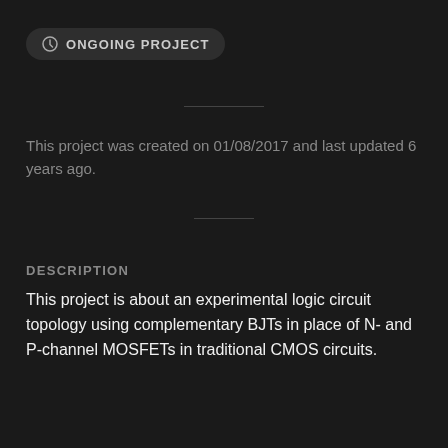ONGOING PROJECT
This project was created on 01/08/2017 and last updated 6 years ago.
DESCRIPTION
This project is about an experimental logic circuit topology using complementary BJTs in place of N- and P-channel MOSFETs in traditional CMOS circuits.